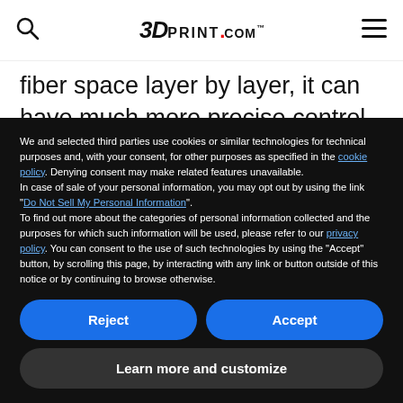3DPrint.com
fiber space layer by layer, it can have much more precise control over each preform's internal structure. This means each fiber can be customized in shape and design.
We and selected third parties use cookies or similar technologies for technical purposes and, with your consent, for other purposes as specified in the cookie policy. Denying consent may make related features unavailable.
In case of sale of your personal information, you may opt out by using the link "Do Not Sell My Personal Information".
To find out more about the categories of personal information collected and the purposes for which such information will be used, please refer to our privacy policy.
You can consent to the use of such technologies by using the "Accept" button, by scrolling this page, by interacting with any link or button outside of this notice or by continuing to browse otherwise.
Reject
Accept
Learn more and customize